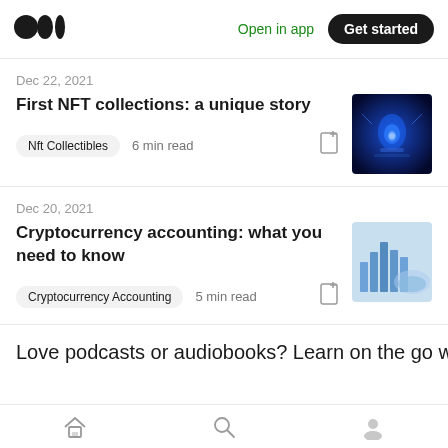Medium — Open in app | Get started
Dec 22, 2021
First NFT collections: a unique story
Nft Collectibles   6 min read
Dec 20, 2021
Cryptocurrency accounting: what you need to know
Cryptocurrency Accounting   5 min read
Love podcasts or audiobooks? Learn on the go with our
Home | Search | Profile